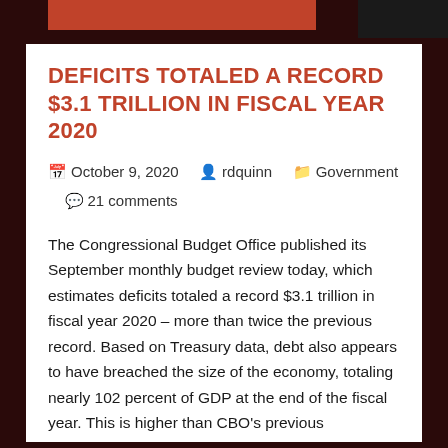DEFICITS TOTALED A RECORD $3.1 TRILLION IN FISCAL YEAR 2020
October 9, 2020  rdquinn  Government  21 comments
The Congressional Budget Office published its September monthly budget review today, which estimates deficits totaled a record $3.1 trillion in fiscal year 2020 – more than twice the previous record. Based on Treasury data, debt also appears to have breached the size of the economy, totaling nearly 102 percent of GDP at the end of the fiscal year. This is higher than CBO's previous